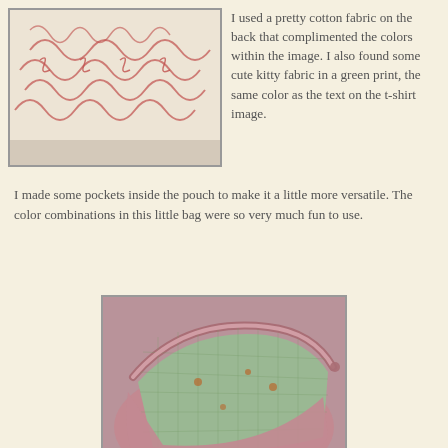[Figure (photo): Close-up of a fabric piece with red scrollwork/curl pattern on cream background]
I used a pretty cotton fabric on the back that complimented the colors within the image. I also found some cute kitty fabric in a green print, the same color as the text on the t-shirt image.
I made some pockets inside the pouch to make it a little more versatile. The color combinations in this little bag were so very much fun to use.
[Figure (photo): A pink fabric pouch opened to reveal a green checkered interior lining with small cat prints, held open by hands]